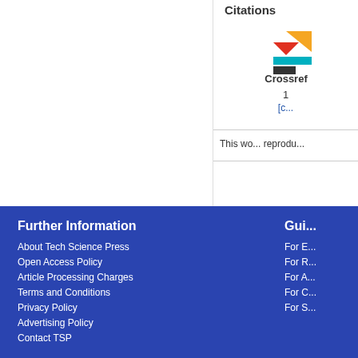Citations
[Figure (logo): Crossref logo with colorful geometric shapes and bold 'Crossref' text]
1
[c...
This wo... reprodu...
Further Information
About Tech Science Press
Open Access Policy
Article Processing Charges
Terms and Conditions
Privacy Policy
Advertising Policy
Contact TSP
Gui...
For E...
For R...
For A...
For C...
For S...